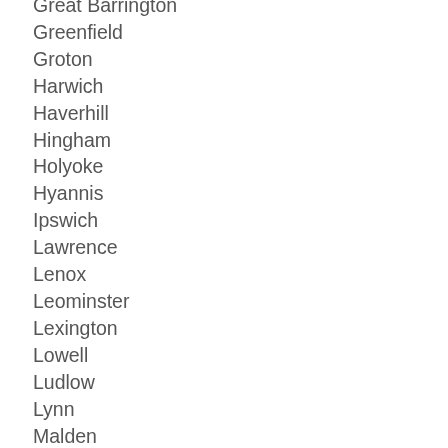Great Barrington
Greenfield
Groton
Harwich
Haverhill
Hingham
Holyoke
Hyannis
Ipswich
Lawrence
Lenox
Leominster
Lexington
Lowell
Ludlow
Lynn
Malden
Marblehead
Marlborough
Medford
Milton